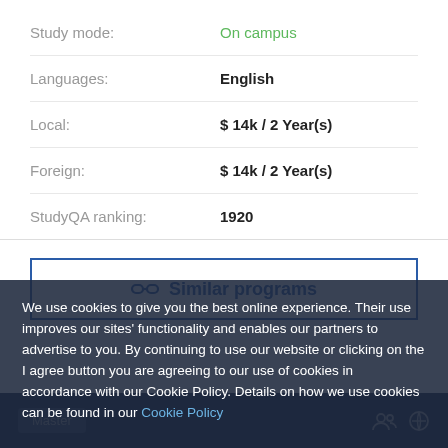Study mode: On campus
Languages: English
Local: $14k / 2 Year(s)
Foreign: $14k / 2 Year(s)
StudyQA ranking: 1920
Similar programs
We use cookies to give you the best online experience. Their use improves our sites' functionality and enables our partners to advertise to you. By continuing to use our website or clicking on the I agree button you are agreeing to our use of cookies in accordance with our Cookie Policy. Details on how we use cookies can be found in our Cookie Policy
I AGREE